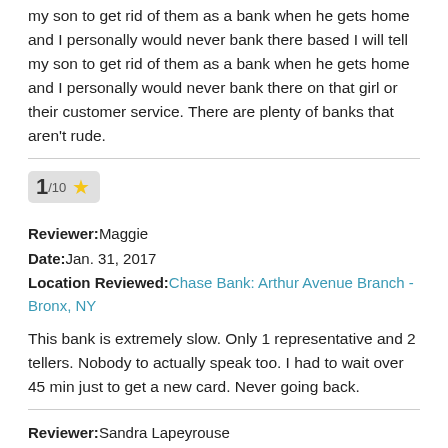my son to get rid of them as a bank when he gets home and I personally would never bank there based I will tell my son to get rid of them as a bank when he gets home and I personally would never bank there on that girl or their customer service. There are plenty of banks that aren't rude.
[Figure (other): Rating badge showing 1/10 with a gold star]
Reviewer: Maggie
Date: Jan. 31, 2017
Location Reviewed: Chase Bank: Arthur Avenue Branch - Bronx, NY
This bank is extremely slow. Only 1 representative and 2 tellers. Nobody to actually speak too. I had to wait over 45 min just to get a new card. Never going back.
Reviewer: Sandra Lapeyrouse
Date: Jan. 30, 2017
Location Reviewed: Chase Bank: Shenandoah Branch - Baton Rouge, LA